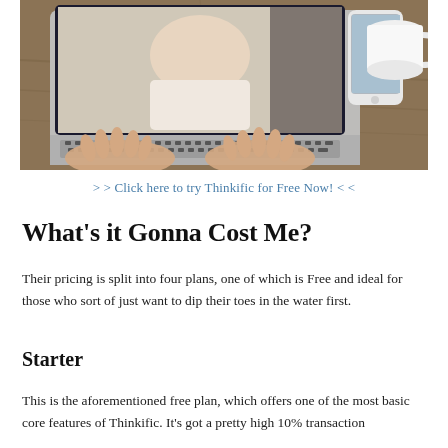[Figure (photo): Overhead view of a person typing on a laptop computer on a wooden desk, with a smartphone and a white coffee mug visible to the right. The laptop screen shows a video call with a person.]
> > Click here to try Thinkific for Free Now! < <
What's it Gonna Cost Me?
Their pricing is split into four plans, one of which is Free and ideal for those who sort of just want to dip their toes in the water first.
Starter
This is the aforementioned free plan, which offers one of the most basic core features of Thinkific. It's got a pretty high 10% transaction